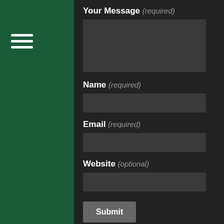[Figure (other): Hamburger menu icon (three white horizontal lines) on dark green background]
Your Message (required)
[Figure (other): Dark textarea input box for message]
Name (required)
[Figure (other): Dark single-line input box for name]
Email (required)
[Figure (other): Dark single-line input box for email]
Website (optional)
[Figure (other): Dark single-line input box for website]
Submit
BEST CASINOS CANADA
Check out the best Canadian online casinos...